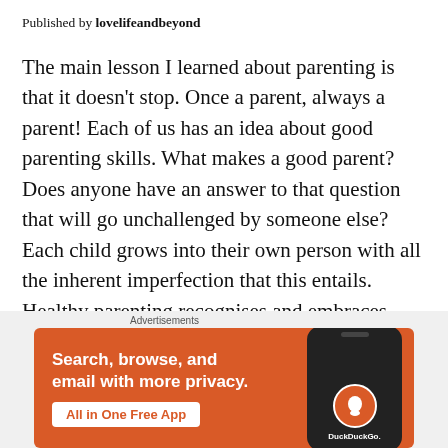Published by lovelifeandbeyond
The main lesson I learned about parenting is that it doesn’t stop. Once a parent, always a parent! Each of us has an idea about good parenting skills. What makes a good parent? Does anyone have an answer to that question that will go unchallenged by someone else? Each child grows into their own person with all the inherent imperfection that this entails. Healthy parenting recognises and embraces these perceived imperfections. Positive Parenting Parenting styles diff
[Figure (other): DuckDuckGo advertisement banner with orange background showing text 'Search, browse, and email with more privacy. All in One Free App' alongside a smartphone image with DuckDuckGo logo]